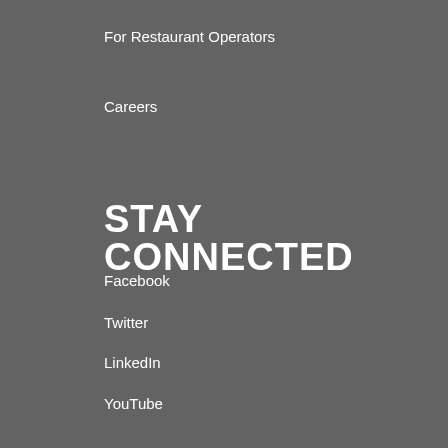For Restaurant Operators
Careers
STAY CONNECTED
Facebook
Twitter
LinkedIn
YouTube
POLICY
Privacy Policy
CCPA Disclosure
Terms and Conditions
Website Terms & Conditions of Use